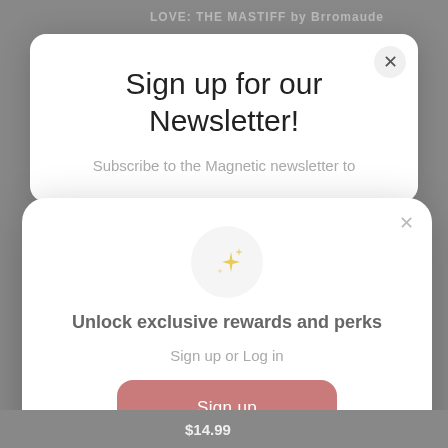[Figure (screenshot): Background webpage with heading 'LOVE: THE MASTIFF by Brromaude' partially visible, dimmed behind two overlapping modal dialogs.]
Sign up for our Newsletter!
Subscribe to the Magnetic newsletter to
[Figure (illustration): Sparkle/star emoji icon (✦) inside a light grey circle, representing rewards or loyalty program branding.]
Unlock exclusive rewards and perks
Sign up or Log in
Sign up
Already have an account? Sign in